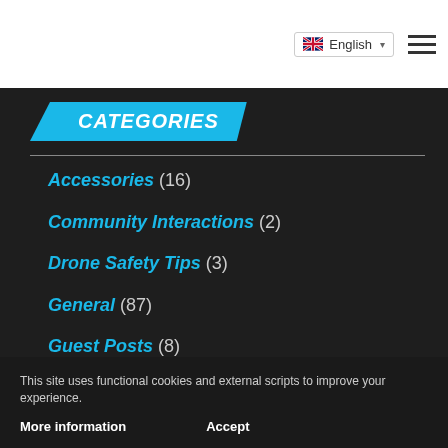English
CATEGORIES
Accessories (16)
Community Interactions (2)
Drone Safety Tips (3)
General (87)
Guest Posts (8)
Make Money (8)
Positive Press (5)
This site uses functional cookies and external scripts to improve your experience.
More information   Accept